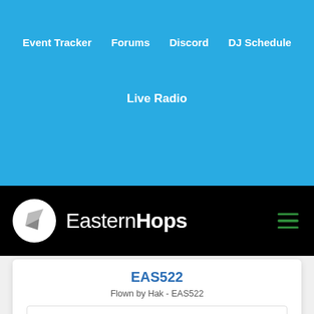Event Tracker   Forums   Discord   DJ Schedule
Live Radio
[Figure (logo): EasternHops logo with circular icon and site name on black bar]
EAS522
Flown by Hak - EAS522
Departure Airport